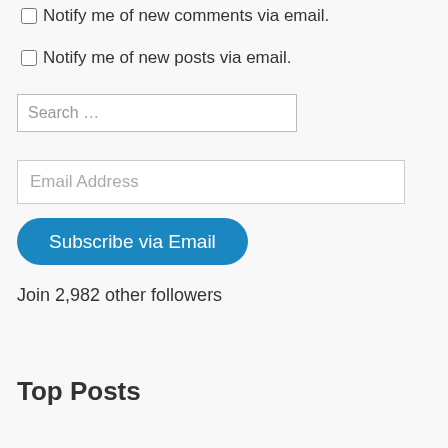Notify me of new comments via email.
Notify me of new posts via email.
Search …
Email Address
Subscribe via Email
Join 2,982 other followers
Top Posts